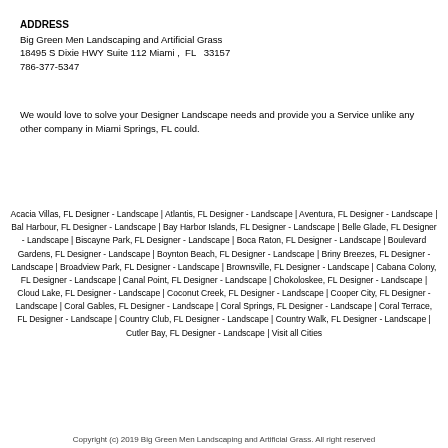ADDRESS
Big Green Men Landscaping and Artificial Grass
18495 S Dixie HWY Suite 112 Miami ,  FL   33157
786-377-5347
We would love to solve your Designer Landscape needs and provide you a Service unlike any other company in Miami Springs, FL could.
Acacia Villas, FL Designer - Landscape | Atlantis, FL Designer - Landscape | Aventura, FL Designer - Landscape | Bal Harbour, FL Designer - Landscape | Bay Harbor Islands, FL Designer - Landscape | Belle Glade, FL Designer - Landscape | Biscayne Park, FL Designer - Landscape | Boca Raton, FL Designer - Landscape | Boulevard Gardens, FL Designer - Landscape | Boynton Beach, FL Designer - Landscape | Briny Breezes, FL Designer - Landscape | Broadview Park, FL Designer - Landscape | Brownsville, FL Designer - Landscape | Cabana Colony, FL Designer - Landscape | Canal Point, FL Designer - Landscape | Chokoloskee, FL Designer - Landscape | Cloud Lake, FL Designer - Landscape | Coconut Creek, FL Designer - Landscape | Cooper City, FL Designer - Landscape | Coral Gables, FL Designer - Landscape | Coral Springs, FL Designer - Landscape | Coral Terrace, FL Designer - Landscape | Country Club, FL Designer - Landscape | Country Walk, FL Designer - Landscape | Cutler Bay, FL Designer - Landscape | Visit all Cities
Copyright (c) 2019 Big Green Men Landscaping and Artificial Grass. All right reserved